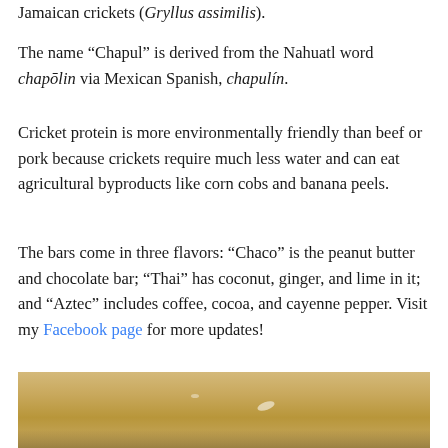Jamaican crickets (Gryllus assimilis).
The name “Chapul” is derived from the Nahuatl word chapōlin via Mexican Spanish, chapulín.
Cricket protein is more environmentally friendly than beef or pork because crickets require much less water and can eat agricultural byproducts like corn cobs and banana peels.
The bars come in three flavors: “Chaco” is the peanut butter and chocolate bar; “Thai” has coconut, ginger, and lime in it; and “Aztec” includes coffee, cocoa, and cayenne pepper. Visit my Facebook page for more updates!
[Figure (photo): Photo of items on a wooden surface, partially visible at bottom of page]